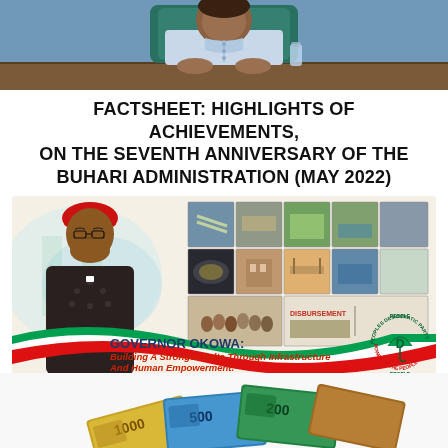[Figure (photo): Top portion of page showing a person in light blue traditional Nigerian attire seated at a desk with hands clasped, photographed in an office setting]
FACTSHEET: HIGHLIGHTS OF ACHIEVEMENTS, ON THE SEVENTH ANNIVERSARY OF THE BUHARI ADMINISTRATION (MAY 2022)
[Figure (infographic): Governor Okowa campaign/achievement banner with cream/beige background. Left side shows Governor Okowa wearing red traditional cap and dark embroidered outfit. Upper right shows a 2x5 grid of photos depicting infrastructure projects (roads, dams, stadiums, buildings, waterways). Bottom has Nigerian flag ribbon design in green-white-green-red. PDP (Peoples Democratic Party) circular logo on bottom right. Text reads 'GOVERNOR OKOWA: Building A Stronger Delta Through Infrastructure And Human Empowerment.']
[Figure (photo): Partial view of Nigerian Naira banknotes (1000 and 500 denominations) fanned out, shown at the bottom of the page]